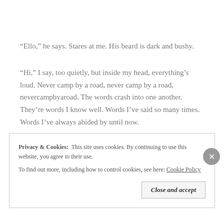“Ello,” he says. Stares at me. His beard is dark and bushy.
“Hi,” I say, too quietly, but inside my head, everything’s loud. Never camp by a road, never camp by a road, nevercampbyaroad. The words crash into one another. They’re words I know well. Words I’ve said so many times. Words I’ve always abided by until now.
He stands still for a moment, in the clearing between the trees.
Privacy & Cookies:  This site uses cookies. By continuing to use this website, you agree to their use.
To find out more, including how to control cookies, see here: Cookie Policy
Close and accept